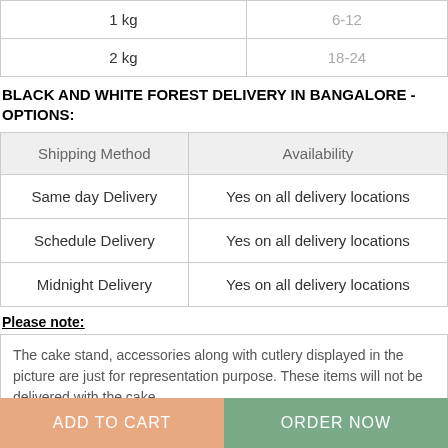|  |  |
| --- | --- |
| 1 kg | 6-12 |
| 2 kg | 18-24 |
BLACK AND WHITE FOREST DELIVERY IN BANGALORE - OPTIONS:
| Shipping Method | Availability |
| --- | --- |
| Same day Delivery | Yes on all delivery locations |
| Schedule Delivery | Yes on all delivery locations |
| Midnight Delivery | Yes on all delivery locations |
Please note:
The cake stand, accessories along with cutlery displayed in the picture are just for representation purpose. These items will not be delivered with the cake.